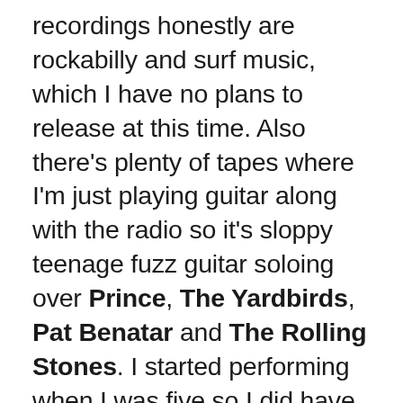recordings honestly are rockabilly and surf music, which I have no plans to release at this time. Also there's plenty of tapes where I'm just playing guitar along with the radio so it's sloppy teenage fuzz guitar soloing over Prince, The Yardbirds, Pat Benatar and The Rolling Stones. I started performing when I was five so I did have kind of a headstart with some of this stuff. I thought the Cocteau Twins and This Mortal Coil were the dreamiest thing I ever heard and wanted to be in that dream. After that rockabilly never really connected the same way. I guess I was